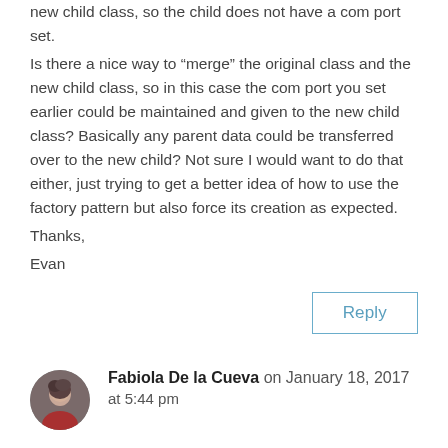new child class, so the child does not have a com port set.
Is there a nice way to “merge” the original class and the new child class, so in this case the com port you set earlier could be maintained and given to the new child class? Basically any parent data could be transferred over to the new child? Not sure I would want to do that either, just trying to get a better idea of how to use the factory pattern but also force its creation as expected.
Thanks,
Evan
Reply
Fabiola De la Cueva on January 18, 2017 at 5:44 pm